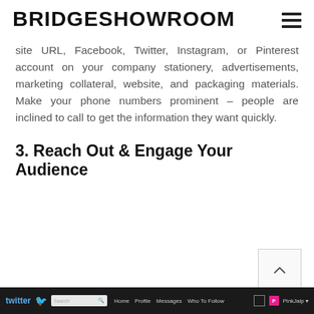BRIDGESHOWROOM
site URL, Facebook, Twitter, Instagram, or Pinterest account on your company stationery, advertisements, marketing collateral, website, and packaging materials. Make your phone numbers prominent – people are inclined to call to get the information they want quickly.
3. Reach Out & Engage Your Audience
[Figure (screenshot): Twitter website navigation bar screenshot showing Twitter logo with bird icon, search box, navigation links (Home, Profile, Messages, Who To Follow), and user account PinkJalp on a dark background]